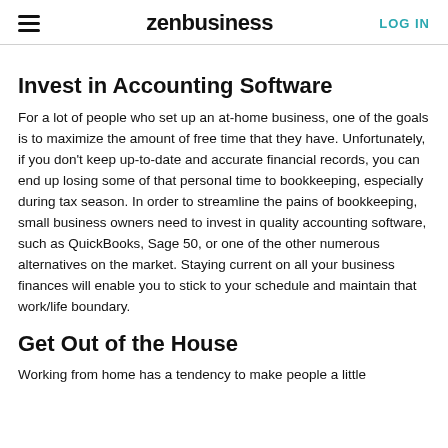zenbusiness | LOG IN
Invest in Accounting Software
For a lot of people who set up an at-home business, one of the goals is to maximize the amount of free time that they have. Unfortunately, if you don't keep up-to-date and accurate financial records, you can end up losing some of that personal time to bookkeeping, especially during tax season. In order to streamline the pains of bookkeeping, small business owners need to invest in quality accounting software, such as QuickBooks, Sage 50, or one of the other numerous alternatives on the market. Staying current on all your business finances will enable you to stick to your schedule and maintain that work/life boundary.
Get Out of the House
Working from home has a tendency to make people a little